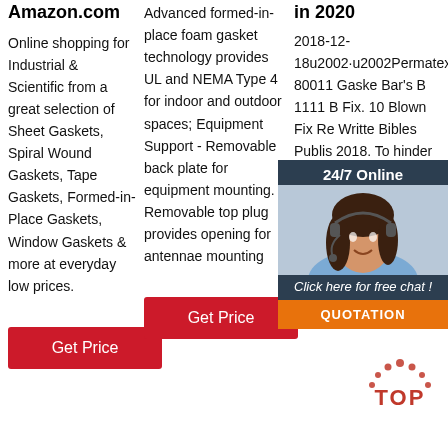Amazon.com
Online shopping for Industrial & Scientific from a great selection of Sheet Gaskets, Spiral Wound Gaskets, Tape Gaskets, Formed-in-Place Gaskets, Window Gaskets & more at everyday low prices.
Get Price
Advanced formed-in-place foam gasket technology provides UL and NEMA Type 4 for indoor and outdoor spaces; Equipment Support - Removable back plate for equipment mounting. Removable top plug provides opening for antennae mounting
Get Price
in 2020
2018-12-18u2002·u2002Permatex 80011 Gasket Bar's B 1111 B Fix. 10 Blown Fix Re Writte Bibles Publis 2018. To hinder any leakage from occurring from or into the joined surfaces when under
[Figure (photo): Chat support overlay with woman wearing headset, '24/7 Online' header, 'Click here for free chat!' text, and orange QUOTATION button]
[Figure (logo): TOP logo in orange/red dotted style]